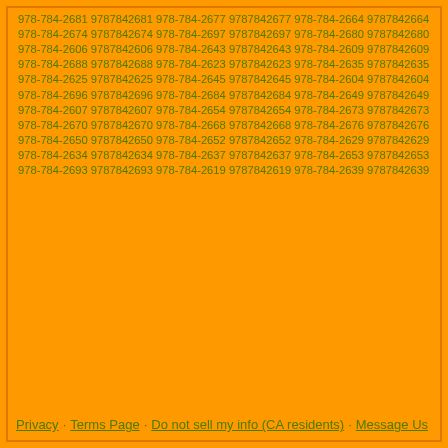978-784-2681 9787842681 978-784-2677 9787842677 978-784-2664 9787842664 978-784-2674 9787842674 978-784-2697 9787842697 978-784-2680 9787842680 978-784-2606 9787842606 978-784-2643 9787842643 978-784-2609 9787842609 978-784-2688 9787842688 978-784-2623 9787842623 978-784-2635 9787842635 978-784-2625 9787842625 978-784-2645 9787842645 978-784-2604 9787842604 978-784-2696 9787842696 978-784-2684 9787842684 978-784-2649 9787842649 978-784-2607 9787842607 978-784-2654 9787842654 978-784-2673 9787842673 978-784-2670 9787842670 978-784-2668 9787842668 978-784-2676 9787842676 978-784-2650 9787842650 978-784-2652 9787842652 978-784-2629 9787842629 978-784-2634 9787842634 978-784-2637 9787842637 978-784-2653 9787842653 978-784-2693 9787842693 978-784-2619 9787842619 978-784-2639 9787842639
Privacy · Terms Page · Do not sell my info (CA residents) · Message Us